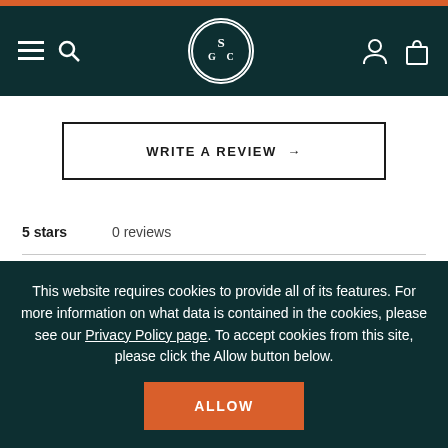SGC logo navigation header with hamburger menu, search, user, and bag icons
WRITE A REVIEW →
5 stars   0 reviews
4 stars   0 reviews
3 stars   0 reviews
This website requires cookies to provide all of its features. For more information on what data is contained in the cookies, please see our Privacy Policy page. To accept cookies from this site, please click the Allow button below.
ALLOW